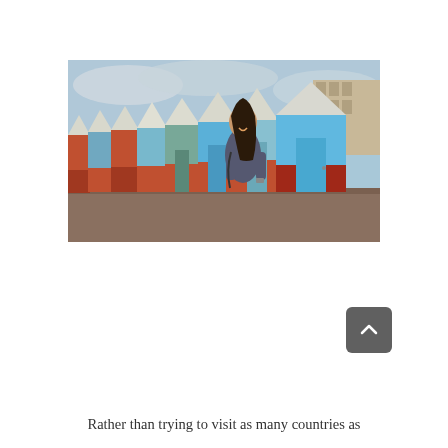[Figure (photo): A smiling young woman with long dark hair stands in front of a row of colorful beach huts (blue, green, red/brown, white) on a gravel surface. Buildings are visible in the background under a cloudy sky.]
Rather than trying to visit as many countries as